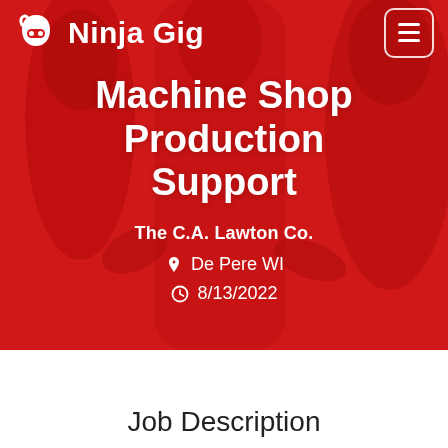[Figure (screenshot): Ninja Gig website header with red background showing people in business setting, logo top-left, hamburger menu top-right]
Machine Shop Production Support
The C.A. Lawton Co.
De Pere WI
8/13/2022
Job Description